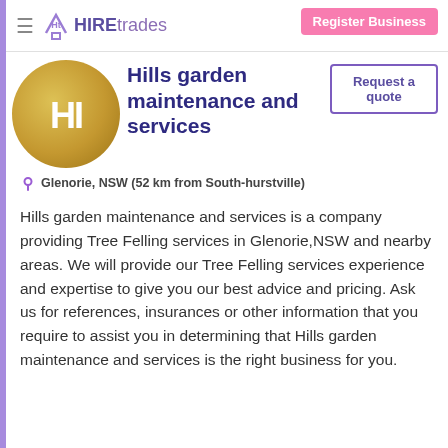HIREtrades — Register Business
Hills garden maintenance and services
Glenorie, NSW (52 km from South-hurstville)
Hills garden maintenance and services is a company providing Tree Felling services in Glenorie,NSW and nearby areas. We will provide our Tree Felling services experience and expertise to give you our best advice and pricing. Ask us for references, insurances or other information that you require to assist you in determining that Hills garden maintenance and services is the right business for you.